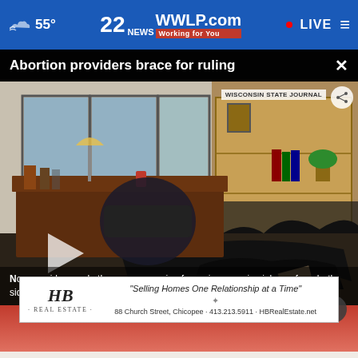55° | 22 WWLP.com News - Working for You | LIVE
Abortion providers brace for ruling
[Figure (screenshot): Burned office interior showing a damaged desk, overturned chair, scorched carpet and debris, boarded-up window. Wisconsin State Journal watermark visible. Play button overlay in lower left.]
Now providers and others are preparing for an increase in violence from both sides once the high court rules in a case that could end Roe v. Wade.
[Figure (other): Advertisement for HB Real Estate: 'Selling Homes One Relationship at a Time' - 88 Church Street, Chicopee - 413.213.5911 - HBRealEstate.net]
Doc
Crazy | TV Tonight